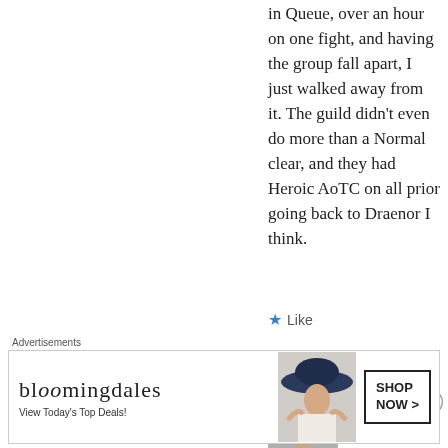in Queue, over an hour on one fight, and having the group fall apart, I just walked away from it. The guild didn't even do more than a Normal clear, and they had Heroic AoTC on all prior going back to Draenor I think.
★ Like
[Figure (photo): Black and white profile photo of a person wearing a dark hat]
gnomecore
Advertisements
[Figure (screenshot): Bloomingdale's advertisement banner: 'bloomingdales View Today's Top Deals!' with a woman wearing a large brimmed hat, and a 'SHOP NOW >' button]